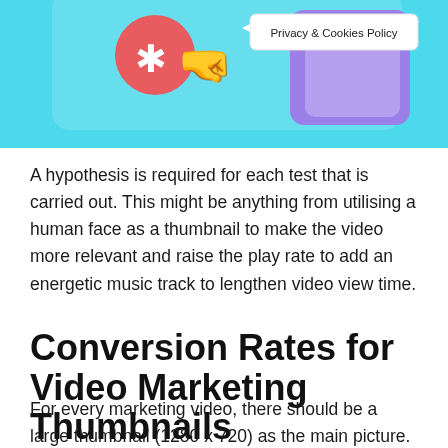[Figure (screenshot): A screenshot of a webpage showing a colorful illustration with a light blue background, emojis, and a 'Privacy & Cookies Policy' popup tooltip. The image is cropped at the top.]
A hypothesis is required for each test that is carried out. This might be anything from utilising a human face as a thumbnail to make the video more relevant and raise the play rate to add an energetic music track to lengthen video view time.
Conversion Rates for Video Marketing Thumbnails
For every marketing video, there should be a large thumbnail (1280 x 720) as the main picture. When you have finished recording your video, you should